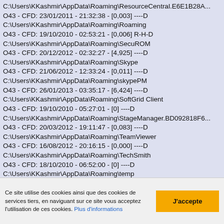C:\Users\KKashmir\AppData\Roaming\ResourceCentral.E6E1B28A...
O43 - CFD: 23/01/2011 - 21:32:38 - [0,003] ----D
C:\Users\KKashmir\AppData\Roaming\Roaming
O43 - CFD: 19/10/2010 - 02:53:21 - [0,006] R-H-D
C:\Users\KKashmir\AppData\Roaming\SecuROM
O43 - CFD: 20/12/2012 - 02:32:27 - [4,925] ----D
C:\Users\KKashmir\AppData\Roaming\Skype
O43 - CFD: 21/06/2012 - 12:33:24 - [0,011] ----D
C:\Users\KKashmir\AppData\Roaming\skypePM
O43 - CFD: 26/01/2013 - 03:35:17 - [6,424] ----D
C:\Users\KKashmir\AppData\Roaming\SoftGrid Client
O43 - CFD: 19/10/2010 - 05:27:01 - [0] ----D
C:\Users\KKashmir\AppData\Roaming\StageManager.BD092818F6...
O43 - CFD: 20/03/2012 - 19:11:47 - [0,083] ----D
C:\Users\KKashmir\AppData\Roaming\TeamViewer
O43 - CFD: 16/08/2012 - 20:16:15 - [0,000] ----D
C:\Users\KKashmir\AppData\Roaming\TechSmith
O43 - CFD: 18/10/2010 - 06:52:00 - [0] ----D
C:\Users\KKashmir\AppData\Roaming\temp
Ce site utilise des cookies ainsi que des cookies de services tiers, en naviguant sur ce site vous acceptez l'utilisation de ces cookies. Plus d'informations
J'accepte